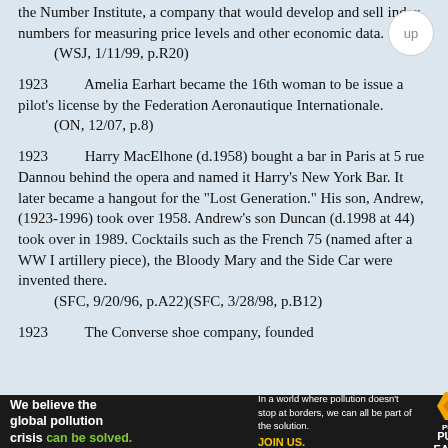the Number Institute, a company that would develop and sell index numbers for measuring price levels and other economic data.
    (WSJ, 1/11/99, p.R20)
1923    Amelia Earhart became the 16th woman to be issue a pilot's license by the Federation Aeronautique Internationale.
    (ON, 12/07, p.8)
1923    Harry MacElhone (d.1958) bought a bar in Paris at 5 rue Dannou behind the opera and named it Harry's New York Bar. It later became a hangout for the "Lost Generation." His son, Andrew, (1923-1996) took over 1958. Andrew's son Duncan (d.1998 at 44) took over in 1989. Cocktails such as the French 75 (named after a WW I artillery piece), the Bloody Mary and the Side Car were invented there.
    (SFC, 9/20/96, p.A22)(SFC, 3/28/98, p.B12)
1923    The Converse shoe company, founded
[Figure (infographic): Advertisement banner: 'We believe the global pollution crisis can be solved.' with Pure Earth logo and text about pollution not stopping at borders.]